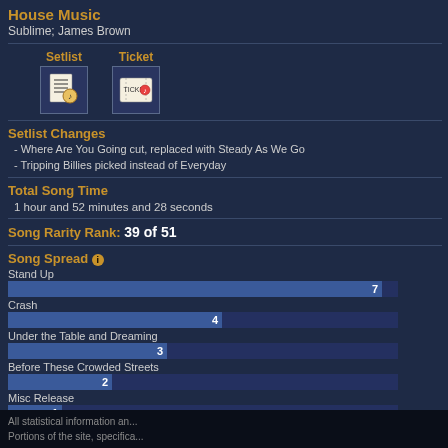House Music
Sublime; James Brown
[Figure (other): Setlist icon]
[Figure (other): Ticket icon]
Setlist Changes
- Where Are You Going cut, replaced with Steady As We Go
- Tripping Billies picked instead of Everyday
Total Song Time
1 hour and 52 minutes and 28 seconds
Song Rarity Rank: 39 of 51
Song Spread
Stand Up — 7
Crash — 4
Under the Table and Dreaming — 3
Before These Crowded Streets — 2
Misc Release — 1
| # | Track | Time |
| --- | --- | --- |
| 3 | Dreamgirl | 10:15 |
| 4 | What Would You Say | 6:00 |
| 5 | Rhyme & Reason | 5:50 |
| 6 | Louisiana Bayou | 8:19 |
| 7 | Crash into Me | 5:44 |
| 8 | Lie in Our Graves | 15:04 |
| 9 | Smooth Rider | 7:15 |
| 10 | Too Much | 5:19 |
| 11 | Hunger for the Great Light | 3:33 |
| 12 | Warehouse | 11:00 |
| 13 | Steady As We Go | 4:41 |
|  | Pantala Naga Pampa » | 0:39 |
| 14 | Rapunzel | 7:05 |
| 15 | Old Dirt Hill (Bring That Beat Back) | 6:56 |
| 16 | Tripping Billies | 5:40 |
| Rarity | Rank | Tour | So Far |
| --- | --- | --- | --- |
| Song | 39 of 51 | 2.047 | 2.020 |
| Guest | 9 of 9 | 1.000 | 1.000 |
| Opener | 3 of 7 | 18.000 | 12.667 |
| Closer | 2 of 7 | 13.500 | 12.667 |
| Encore | 17 of 19 | 4.500 | 4.222 |
All statistical information an...
Portions of the site, specifica...